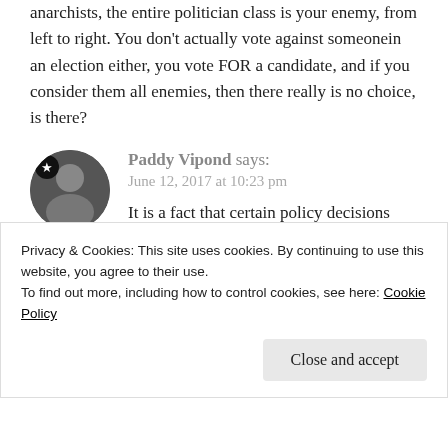anarchists, the entire politician class is your enemy, from left to right. You don't actually vote against someonein an election either, you vote FOR a candidate, and if you consider them all enemies, then there really is no choice, is there?
Paddy Vipond says: June 12, 2017 at 10:23 pm
It is a fact that certain policy decisions
Privacy & Cookies: This site uses cookies. By continuing to use this website, you agree to their use.
To find out more, including how to control cookies, see here: Cookie Policy
Close and accept